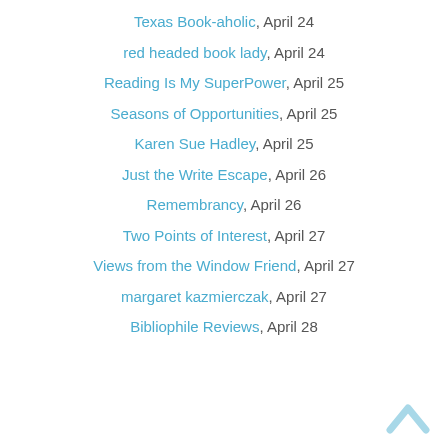Texas Book-aholic, April 24
red headed book lady, April 24
Reading Is My SuperPower, April 25
Seasons of Opportunities, April 25
Karen Sue Hadley, April 25
Just the Write Escape, April 26
Remembrancy, April 26
Two Points of Interest, April 27
Views from the Window Friend, April 27
margaret kazmierczak, April 27
Bibliophile Reviews, April 28